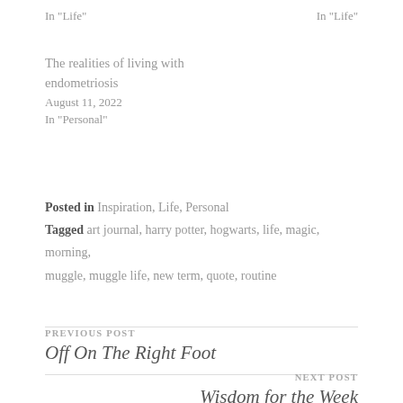In "Life"
In "Life"
The realities of living with endometriosis
August 11, 2022
In "Personal"
Posted in Inspiration, Life, Personal
Tagged art journal, harry potter, hogwarts, life, magic, morning, muggle, muggle life, new term, quote, routine
PREVIOUS POST
Off On The Right Foot
NEXT POST
Wisdom for the Week